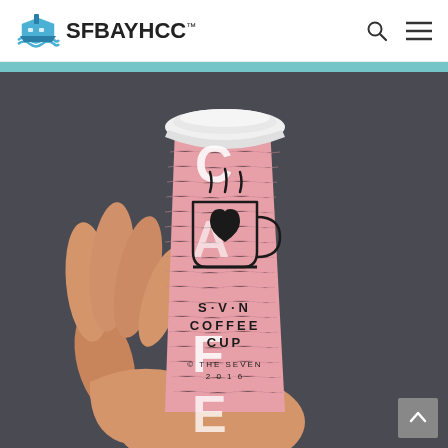SFBAYHCC™ [logo with ship icon, search icon, menu icon]
[Figure (photo): A hand holding a pink coffee cup with a white lid. The cup features the text 'CAFE' vertically in large white letters partially visible, a coffee cup icon with heart design in the center, and the text 'S·V·N COFFEE CUP © THE SEVEN 2016' printed on it. Background is dark gray.]